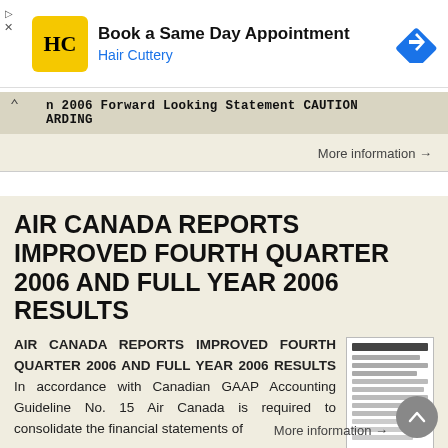[Figure (screenshot): Advertisement banner for Hair Cuttery with logo, headline 'Book a Same Day Appointment', subline 'Hair Cuttery', and navigation arrow icon]
... 2006 Forward Looking Statement CAUTION ARDING
More information →
AIR CANADA REPORTS IMPROVED FOURTH QUARTER 2006 AND FULL YEAR 2006 RESULTS
AIR CANADA REPORTS IMPROVED FOURTH QUARTER 2006 AND FULL YEAR 2006 RESULTS In accordance with Canadian GAAP Accounting Guideline No. 15 Air Canada is required to consolidate the financial statements of
More information →